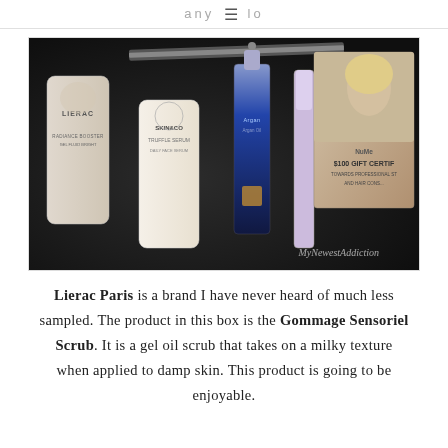any ≡ lo
[Figure (photo): An open black beauty subscription box containing several beauty products: a Lierac Paris tube, a Skin&Co Truffle Serum tube, an Argan Oil serum bottle, a purple-packaged pencil/eyeliner, and a NuMe $100 Gift Certificate card, all nestled in black crinkle paper. The box is branded MyNewestAddiction.]
Lierac Paris is a brand I have never heard of much less sampled. The product in this box is the Gommage Sensoriel Scrub. It is a gel oil scrub that takes on a milky texture when applied to damp skin. This product is going to be enjoyable.